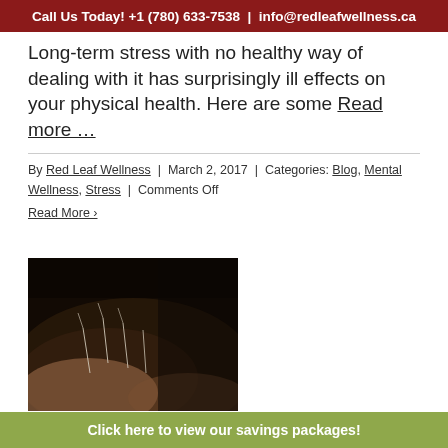Call Us Today! +1 (780) 633-7538  |  info@redleafwellness.ca
Long-term stress with no healthy way of dealing with it has surprisingly ill effects on your physical health. Here are some Read more …
By Red Leaf Wellness  |  March 2, 2017  |  Categories: Blog, Mental Wellness, Stress  |  Comments Off
Read More ›
[Figure (photo): Close-up dark photograph of acupuncture needles inserted into a person's back/shoulder area, dark background]
Click here to view our savings packages!